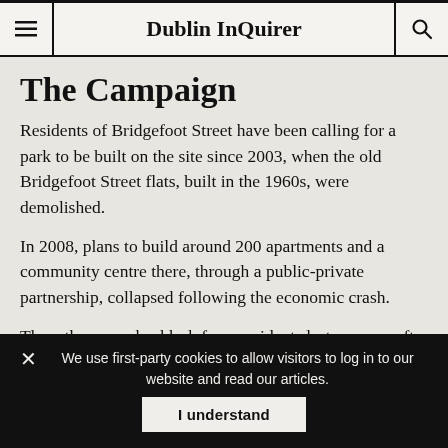Dublin InQuirer
The Campaign
Residents of Bridgefoot Street have been calling for a park to be built on the site since 2003, when the old Bridgefoot Street flats, built in the 1960s, were demolished.
In 2008, plans to build around 200 apartments and a community centre there, through a public-private partnership, collapsed following the economic crash.
Then, there was backlash from residents last summer after progress on a hoped-for park stalled, and there was talk of plans for some kind of emergency accommodation
We use first-party cookies to allow visitors to log in to our website and read our articles.
I understand